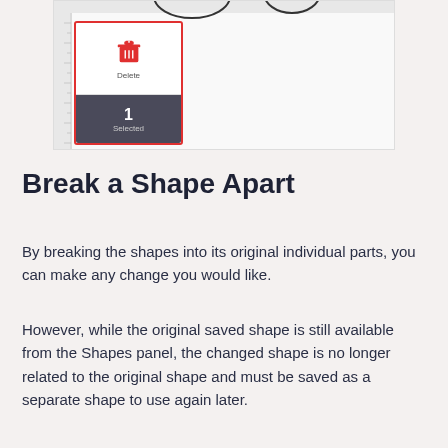[Figure (screenshot): Screenshot of a toolbar popup with a red-bordered panel showing a red trash/delete icon labeled 'Delete' and a dark bar showing '1 Selected', overlaid on a canvas with a ruler on the left and top.]
Break a Shape Apart
By breaking the shapes into its original individual parts, you can make any change you would like.
However, while the original saved shape is still available from the Shapes panel, the changed shape is no longer related to the original shape and must be saved as a separate shape to use again later.